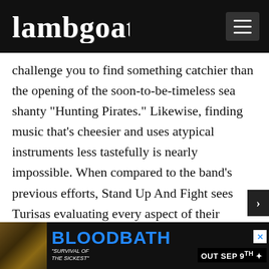Lambgoat
challenge you to find something catchier than the opening of the soon-to-be-timeless sea shanty "Hunting Pirates." Likewise, finding music that's cheesier and uses atypical instruments less tastefully is nearly impossible. When compared to the band's previous efforts, Stand Up And Fight sees Turisas evaluating every aspect of their musical style and deciding that cranking everything folk to the extreme was the best way forward. The lyrics are more laughable, the vocals are cleaner, the symphonic elements are less subtle, and the metal is hardly anywh
[Figure (advertisement): Bloodbath advertisement: album art thumbnail on left, BLOODBATH text in blue, subtitle 'Survival of the Sickest', OUT SEP 9th text on right]